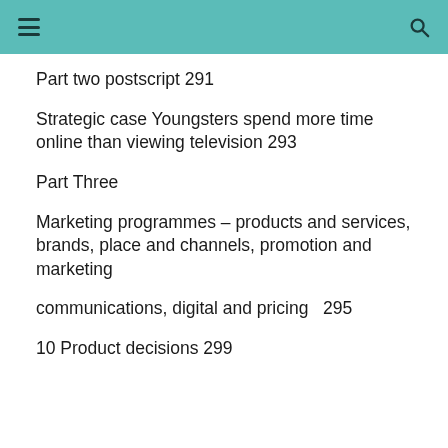≡  🔍
Part two postscript 291
Strategic case Youngsters spend more time online than viewing television 293
Part Three
Marketing programmes – products and services, brands, place and channels, promotion and marketing
communications, digital and pricing  295
10 Product decisions 299